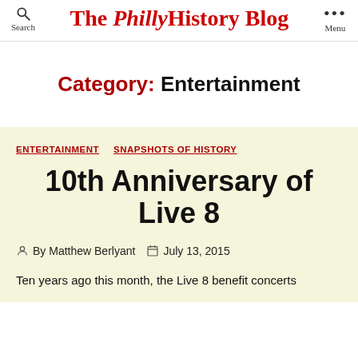The PhillyHistory Blog — Search | Menu
Category: Entertainment
ENTERTAINMENT   SNAPSHOTS OF HISTORY
10th Anniversary of Live 8
By Matthew Berlyant   July 13, 2015
Ten years ago this month, the Live 8 benefit concerts